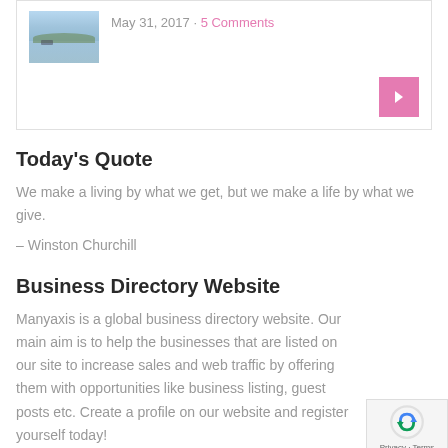[Figure (screenshot): Blog post card with a lake/water landscape thumbnail image, date 'May 31, 2017 · 5 Comments', and a pink arrow button]
Today's Quote
We make a living by what we get, but we make a life by what we give.
– Winston Churchill
Business Directory Website
Manyaxis is a global business directory website. Our main aim is to help the businesses that are listed on our site to increase sales and web traffic by offering them with opportunities like business listing, guest posts etc. Create a profile on our website and register yourself today!